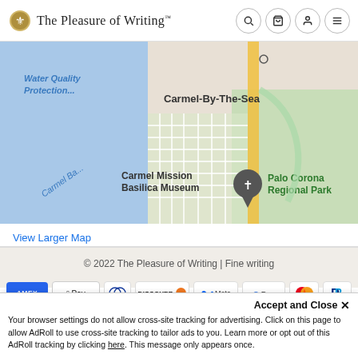The Pleasure of Writing™
[Figure (map): Google Map showing Carmel-By-The-Sea area with Carmel Mission Basilica Museum, Palo Corona Regional Park, and Water Quality Protection area visible]
View Larger Map
© 2022 The Pleasure of Writing | Fine writing
[Figure (infographic): Payment method icons: AMEX, Apple Pay, Diners, Discover, Meta, G Pay, Mastercard, PayPal]
Accept and Close ×
Your browser settings do not allow cross-site tracking for advertising. Click on this page to allow AdRoll to use cross-site tracking to tailor ads to you. Learn more or opt out of this AdRoll tracking by clicking here. This message only appears once.